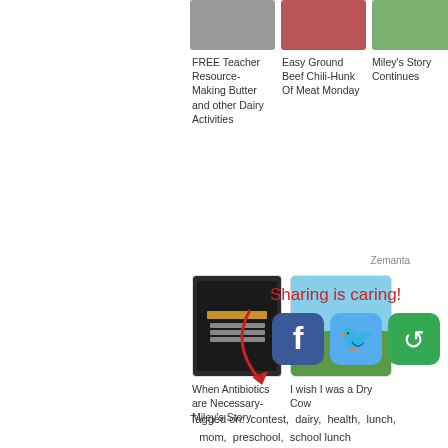[Figure (photo): Three thumbnail images at top: butter/dairy, ground beef chili, green field]
FREE Teacher Resource- Making Butter and other Dairy Activities
Easy Ground Beef Chili-Hunk Of Meat Monday
Miley's Story Continues
[Figure (photo): Book cover: Alternative Treatments for Ruminant Animals]
[Figure (photo): Cows in a green field under blue sky]
When Antibiotics are Necessary- Miley's Story
I wish I was a Dry Cow
Zemanta
Sharing is caring!
[Figure (infographic): Social sharing buttons: Facebook, Twitter, and a green share icon, with a red arrow pointing to them]
Tagged on:  contest,  dairy,  health,  lunch,  mom,  preschool,  school lunch